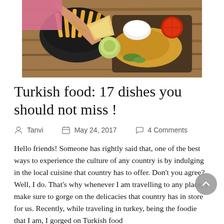[Figure (photo): Overhead view of a person holding a sandwich/toast over a table with various food dishes including fries, sauce, salad, and other Turkish food items on wooden surface]
Turkish food: 17 dishes you should not miss !
Tanvi   May 24, 2017   4 Comments
Hello friends! Someone has rightly said that, one of the best ways to experience the culture of any country is by indulging in the local cuisine that country has to offer. Don't you agree? Well, I do. That's why whenever I am travelling to any place, I make sure to gorge on the delicacies that country has in store for us. Recently, while traveling in turkey, being the foodie that I am, I gorged on Turkish food